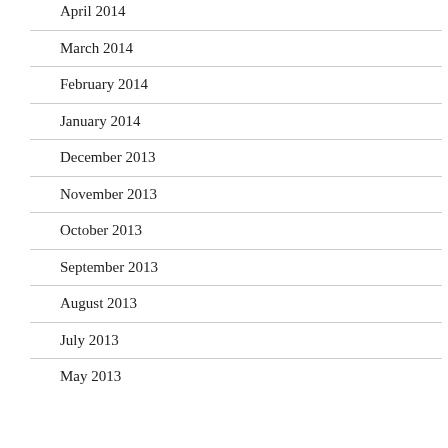April 2014
March 2014
February 2014
January 2014
December 2013
November 2013
October 2013
September 2013
August 2013
July 2013
May 2013